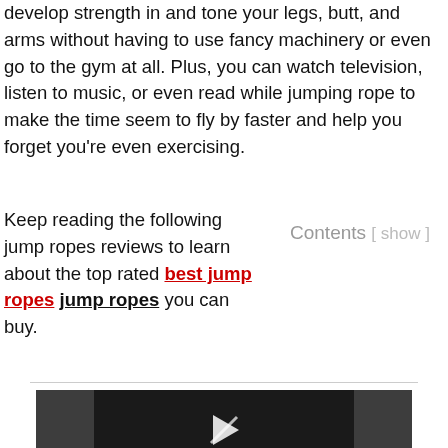develop strength in and tone your legs, butt, and arms without having to use fancy machinery or even go to the gym at all. Plus, you can watch television, listen to music, or even read while jumping rope to make the time seem to fly by faster and help you forget you're even exercising.
Keep reading the following jump ropes reviews to learn about the top rated best jump ropes you can buy.
Contents [ show ]
[Figure (screenshot): Embedded video player showing a dark background with a play button icon and text 'The video cannot be' at the bottom.]